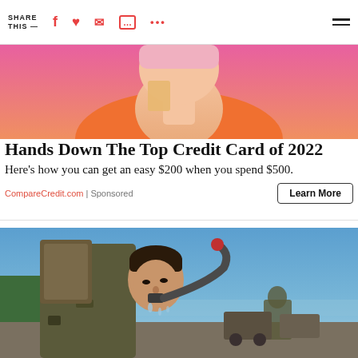SHARE THIS —
[Figure (photo): Partial view of a person wearing an orange top against a pink background, holding something]
Hands Down The Top Credit Card of 2022
Here's how you can get an easy $200 when you spend $500.
CompareCredit.com | Sponsored
[Figure (photo): A soldier in camouflage uniform drinking water from a hose outdoors near a waterfront, with military vehicles and another soldier in the background under a blue sky]